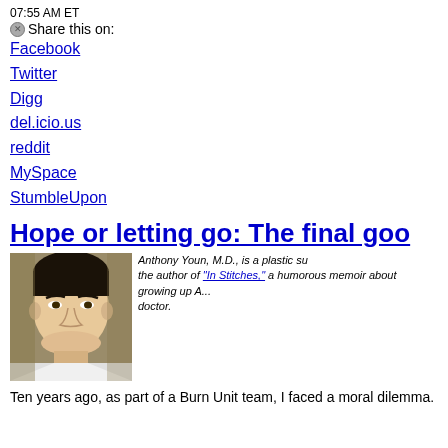07:55 AM ET
Share this on:
Facebook
Twitter
Digg
del.icio.us
reddit
MySpace
StumbleUpon
Hope or letting go: The final goo
[Figure (photo): Headshot photo of Anthony Youn, M.D., a plastic surgeon, smiling, wearing a white coat, against a neutral background.]
Anthony Youn, M.D., is a plastic su... the author of "In Stitches," a humorous memoir about growing up A... doctor.
Ten years ago, as part of a Burn Unit team, I faced a moral dilemma.